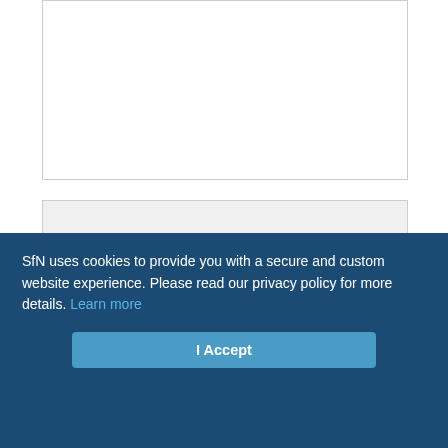[Figure (other): Top portion of a scientific figure (cropped), white background with border]
Download figure
Open in new tab
Download powerpoint
Figure 1. AOB mitral cell tufts are electrically remote from the soma. A, Reconstruction of an AOB mitral cell having six tufts terminating in five glomeruli. The inset shows convergence between tufts 2 and 3. B, Data from simulations
SfN uses cookies to provide you with a secure and custom website experience. Please read our privacy policy for more details. Learn more
I Accept